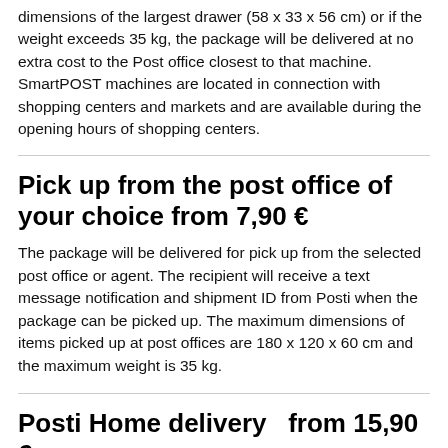dimensions of the largest drawer (58 x 33 x 56 cm) or if the weight exceeds 35 kg, the package will be delivered at no extra cost to the Post office closest to that machine. SmartPOST machines are located in connection with shopping centers and markets and are available during the opening hours of shopping centers.
Pick up from the post office of your choice from 7,90 €
The package will be delivered for pick up from the selected post office or agent. The recipient will receive a text message notification and shipment ID from Posti when the package can be picked up. The maximum dimensions of items picked up at post offices are 180 x 120 x 60 cm and the maximum weight is 35 kg.
Posti Home delivery  from 15,90 €